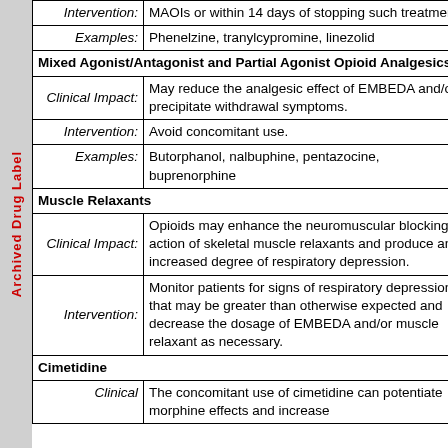| Intervention: | MAOIs or within 14 days of stopping such treatment. |
| Examples: | Phenelzine, tranylcypromine, linezolid |
| Mixed Agonist/Antagonist and Partial Agonist Opioid Analgesics |  |
| Clinical Impact: | May reduce the analgesic effect of EMBEDA and/or precipitate withdrawal symptoms. |
| Intervention: | Avoid concomitant use. |
| Examples: | Butorphanol, nalbuphine, pentazocine, buprenorphine |
| Muscle Relaxants |  |
| Clinical Impact: | Opioids may enhance the neuromuscular blocking action of skeletal muscle relaxants and produce an increased degree of respiratory depression. |
| Intervention: | Monitor patients for signs of respiratory depression that may be greater than otherwise expected and decrease the dosage of EMBEDA and/or muscle relaxant as necessary. |
| Cimetidine |  |
| Clinical: | The concomitant use of cimetidine can potentiate morphine effects and increase |